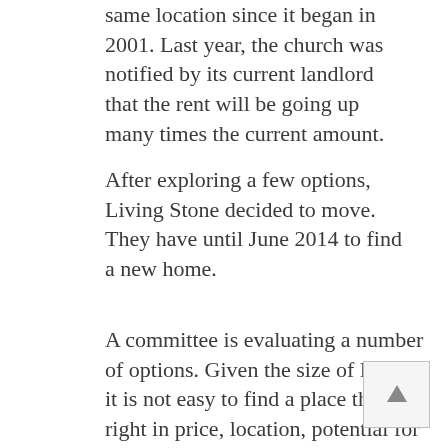same location since it began in 2001. Last year, the church was notified by its current landlord that the rent will be going up many times the current amount.
After exploring a few options, Living Stone decided to move. They have until June 2014 to find a new home.
A committee is evaluating a number of options. Given the size of Macau, it is not easy to find a place that is right in price, location, potential for ministry, and other factors. Please pray for the church – that the Lord will